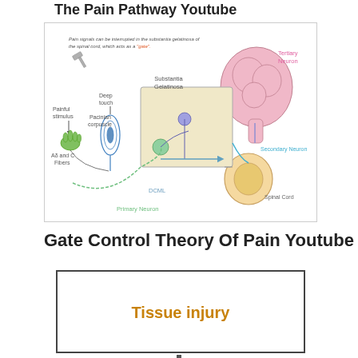The Pain Pathway Youtube
[Figure (illustration): Diagram of the pain pathway showing painful stimulus and Aδ and C fibers from a hand, deep touch and Pacinian corpuscle, the substantia gelatinosa of the spinal cord acting as a gate, primary neuron (green), secondary neuron (blue/teal), tertiary neuron leading to the brain, DCML pathway, and the spinal cord cross-section. Annotation reads: 'Pain signals can be interrupted in the substantia gelatinosa of the spinal cord, which acts as a gate.']
Gate Control Theory Of Pain Youtube
[Figure (flowchart): Flowchart box labeled 'Tissue injury' in bold orange/amber text, with a downward arrow below it, beginning of a pain pathway flowchart.]